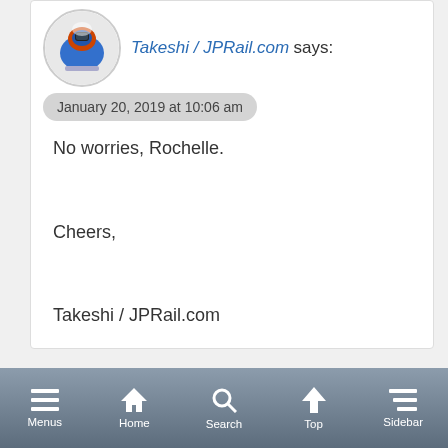[Figure (illustration): Avatar image of a bullet train (blue/white/orange) in a circular frame]
Takeshi / JPRail.com says:
January 20, 2019 at 10:06 am
No worries, Rochelle.

Cheers,

Takeshi / JPRail.com
[Figure (illustration): Generic user avatar (grey silhouette person) in a circular frame]
Omni says:
October 4, 2018 at 3:38 am
Menus  Home  Search  Top  Sidebar